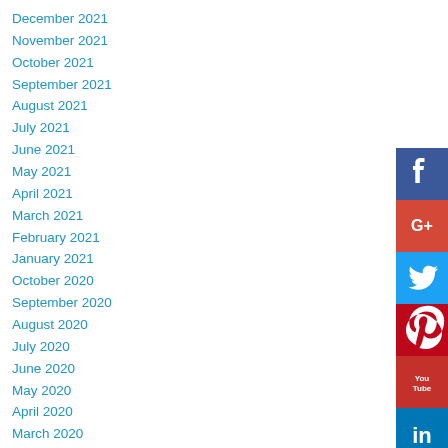December 2021
November 2021
October 2021
September 2021
August 2021
July 2021
June 2021
May 2021
April 2021
March 2021
February 2021
January 2021
October 2020
September 2020
August 2020
July 2020
June 2020
May 2020
April 2020
March 2020
[Figure (infographic): Social media icon buttons: Facebook, Google+, Twitter, Pinterest, YouTube, LinkedIn]